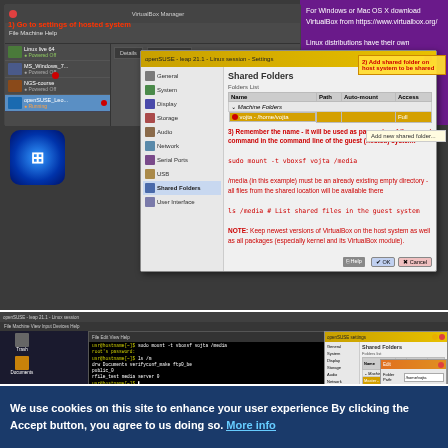[Figure (screenshot): VirtualBox Manager window showing Shared Folders settings dialog with red annotations indicating steps: 1) Go to settings of hosted system, 2) Add shared folder on host system to be shared, with mount command instructions and notes in red text]
[Figure (screenshot): Linux desktop with terminal window showing mount commands and VirtualBox Shared Folders dialog with Edit Folder popup]
We use cookies on this site to enhance your user experience By clicking the Accept button, you agree to us doing so. More info